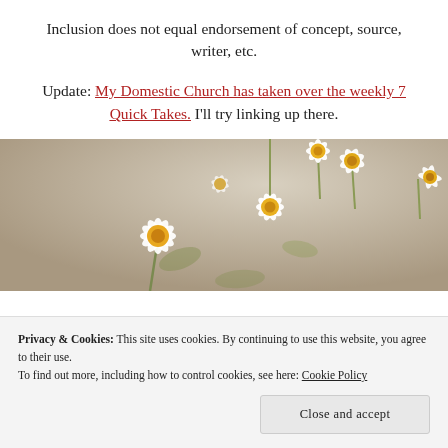Inclusion does not equal endorsement of concept, source, writer, etc.
Update: My Domestic Church has taken over the weekly 7 Quick Takes. I'll try linking up there.
[Figure (photo): Close-up photograph of white daisy flowers with yellow centers against a blurred grey-brown background.]
Privacy & Cookies: This site uses cookies. By continuing to use this website, you agree to their use. To find out more, including how to control cookies, see here: Cookie Policy